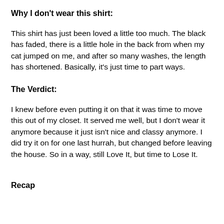Why I don't wear this shirt:
This shirt has just been loved a little too much. The black has faded, there is a little hole in the back from when my cat jumped on me, and after so many washes, the length has shortened. Basically, it's just time to part ways.
The Verdict:
I knew before even putting it on that it was time to move this out of my closet. It served me well, but I don't wear it anymore because it just isn't nice and classy anymore. I did try it on for one last hurrah, but changed before leaving the house. So in a way, still Love It, but time to Lose It.
Recap